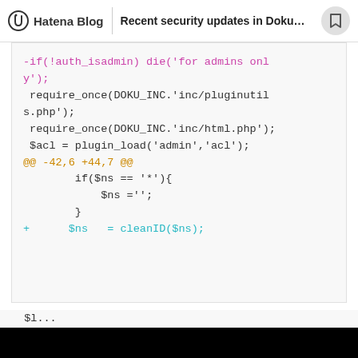Hatena Blog | Recent security updates in DokuWi...
[Figure (screenshot): Code diff screenshot showing PHP code changes in DokuWiki plugin file. Deleted line: -if(!auth_isadmin) die('for admins only'); context lines: require_once(DOKU_INC.'inc/pluginutils.php'); require_once(DOKU_INC.'inc/html.php'); $acl = plugin_load('admin','acl'); hunk header: @@ -42,6 +44,7 @@ context: if($ns == '*'){ $ns =''; } added line: + $ns = cleanID($ns);]